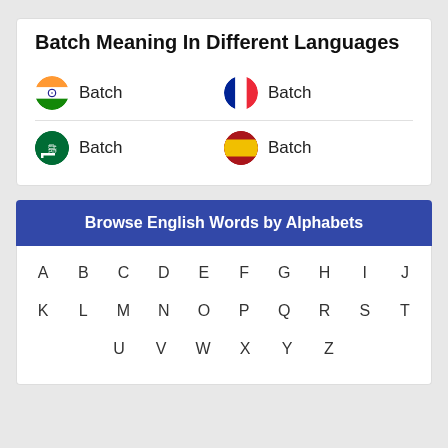Batch Meaning In Different Languages
India flag - Batch
France flag - Batch
Saudi Arabia flag - Batch
Spain flag - Batch
Browse English Words by Alphabets
A B C D E F G H I J K L M N O P Q R S T U V W X Y Z